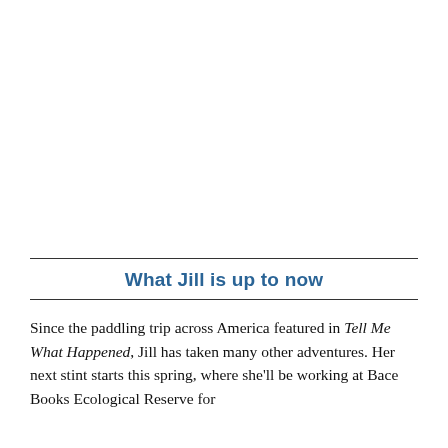[Figure (photo): Blank white area representing an image placeholder at the top of the page.]
What Jill is up to now
Since the paddling trip across America featured in Tell Me What Happened, Jill has taken many other adventures. Her next stint starts this spring, where she'll be working at Bace Books Ecological Reserve for